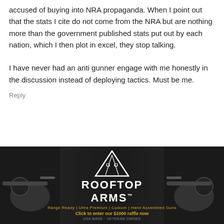accused of buying into NRA propaganda. When I point out that the stats I cite do not come from the NRA but are nothing more than the government published stats put out by each nation, which I then plot in excel, they stop talking.

I have never had an anti gunner engage with me honestly in the discussion instead of deploying tactics. Must be me.
Reply
DJ
November 6, 2017 At 15:49
These people do not think, they adopt beliefs
iefs. If there
[Figure (photo): Rooftop Arms advertisement banner with dark background, rifle imagery, and a triangular logo. Text reads: ROOFTOP ARMS. Range Ready | Ultra Premium | Custom | Hand Assembled Guns. Click to enter our $1000 raffle now. USA MADE · VETERAN OWNED.]